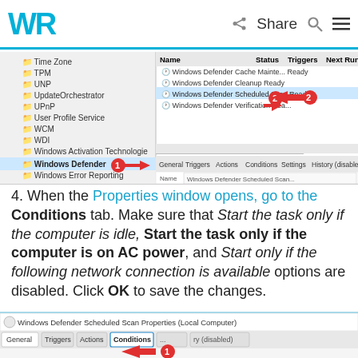WR | Share
[Figure (screenshot): Windows Task Scheduler screenshot showing folder tree with 'Windows Defender' selected (arrow 1) and task list showing Windows Defender tasks including 'Windows Defender Scheduled Scan' highlighted (arrow 2), with tabs: General, Triggers, Actions, Conditions, Settings, History (disabled)]
4. When the Properties window opens, go to the Conditions tab. Make sure that Start the task only if the computer is idle, Start the task only if the computer is on AC power, and Start only if the following network connection is available options are disabled. Click OK to save the changes.
[Figure (screenshot): Bottom of Windows Defender Scheduled Scan Properties (Local Computer) dialog showing tabs: General, Triggers, Actions, Conditions (with red arrow annotation 1), and History (disabled)]